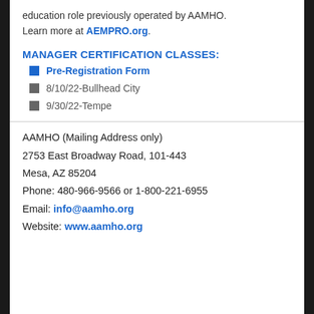education role previously operated by AAMHO. Learn more at AEMPRO.org.
MANAGER CERTIFICATION CLASSES:
Pre-Registration Form
8/10/22-Bullhead City
9/30/22-Tempe
AAMHO (Mailing Address only)
2753 East Broadway Road, 101-443
Mesa, AZ 85204
Phone: 480-966-9566 or 1-800-221-6955
Email: info@aamho.org
Website: www.aamho.org